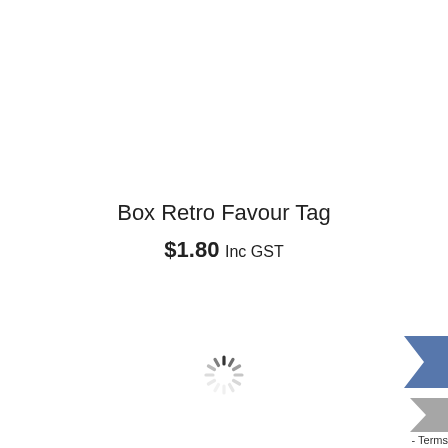Box Retro Favour Tag
$1.80 Inc GST
[Figure (other): Loading spinner animation icon (circular spokes pattern)]
[Figure (other): Corner widget with blue and gray arrow/chevron icons and partial 'Terms' text]